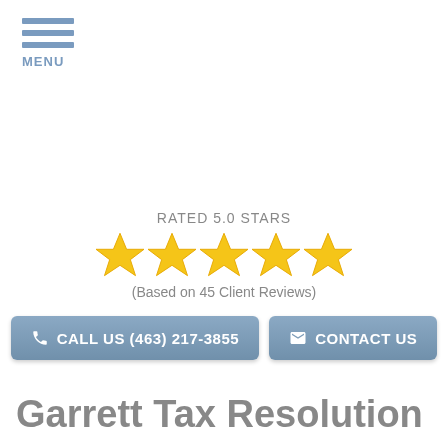[Figure (infographic): Hamburger menu icon with three blue horizontal bars and MENU label below]
RATED 5.0 STARS
[Figure (infographic): Five gold star rating icons]
(Based on 45 Client Reviews)
[Figure (infographic): Two action buttons: CALL US (463) 217-3855 and CONTACT US with a blue-grey rounded style]
Garrett Tax Resolution